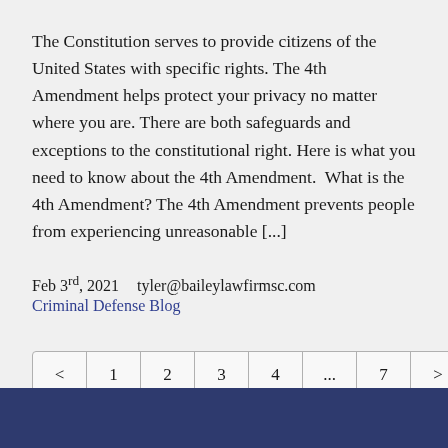The Constitution serves to provide citizens of the United States with specific rights. The 4th Amendment helps protect your privacy no matter where you are. There are both safeguards and exceptions to the constitutional right. Here is what you need to know about the 4th Amendment.  What is the 4th Amendment? The 4th Amendment prevents people from experiencing unreasonable [...]
Feb 3rd, 2021    tyler@baileylawfirmsc.com
Criminal Defense Blog